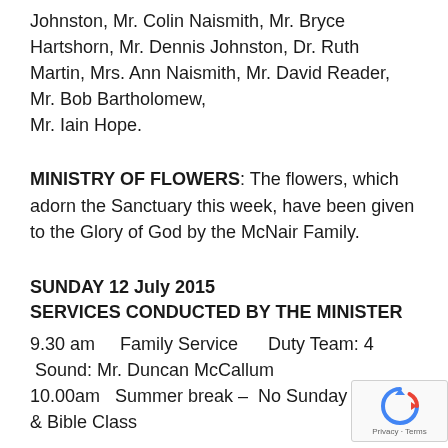Johnston, Mr. Colin Naismith, Mr. Bryce Hartshorn, Mr. Dennis Johnston, Dr. Ruth Martin, Mrs. Ann Naismith, Mr. David Reader, Mr. Bob Bartholomew,
Mr. Iain Hope.
MINISTRY OF FLOWERS: The flowers, which adorn the Sanctuary this week, have been given to the Glory of God by the McNair Family.
SUNDAY 12 July 2015
SERVICES CONDUCTED BY THE MINISTER
9.30 am    Family Service      Duty Team: 4
 Sound: Mr. Duncan McCallum
10.00am   Summer break –  No Sunday School & Bible Class